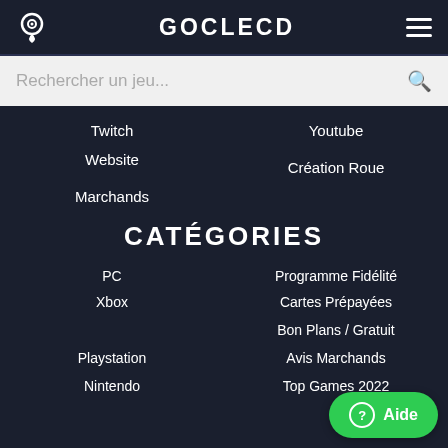GOCLECD
Twitch
Youtube
Website
Création Roue
Marchands
CATÉGORIES
PC
Programme Fidélité
Xbox
Cartes Prépayées
Bon Plans / Gratuit
Playstation
Avis Marchands
Nintendo
Top Games 2022